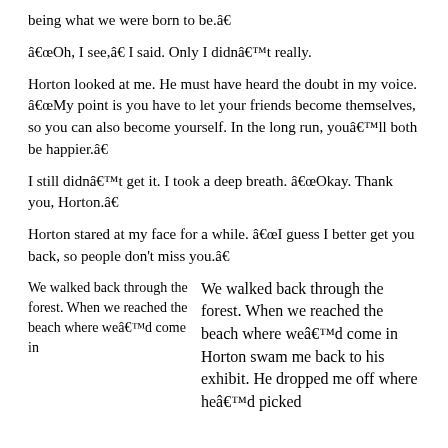being what we were born to be.â€
â€œOh, I see,â€ I said. Only I didnâ€™t really.
Horton looked at me. He must have heard the doubt in my voice. â€œMy point is you have to let your friends become themselves, so you can also become yourself. In the long run, youâ€™ll both be happier.â€
I still didnâ€™t get it. I took a deep breath. â€œOkay. Thank you, Horton.â€
Horton stared at my face for a while. â€œI guess I better get you back, so people don't miss you.â€
We walked back through the forest. When we reached the beach where weâ€™d come in
We walked back through the forest. When we reached the beach where weâ€™d come in Horton swam me back to his exhibit. He dropped me off where heâ€™d picked